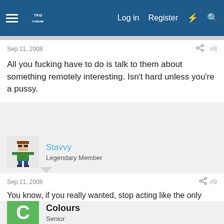Log in  Register
Sep 11, 2008  #8
All you fucking have to do is talk to them about something remotely interesting. Isn't hard unless you're a pussy.
Stavvy
Legendary Member
Sep 11, 2008  #9
You know, if you really wanted, stop acting like the only reason you wanted to talk to them is to fuck them, or at least get into a relationship with them, and instead talk to them like you would a friend, or someone that you'd like to be your friend. They're human too, afterall.
Colours
Senior